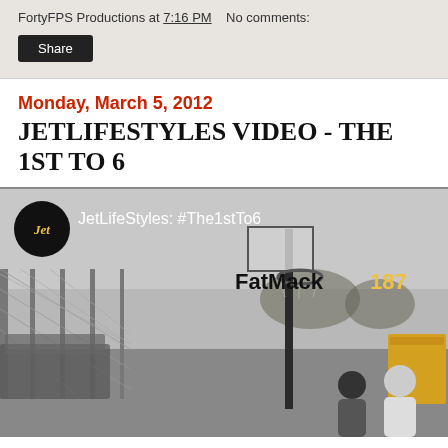FortyFPS Productions at 7:16 PM   No comments:
Share
Monday, March 5, 2012
JETLIFESTYLES VIDEO - THE 1ST TO 6
[Figure (screenshot): YouTube video thumbnail for JetLifeStyles: #The1stTo6 by FatMack187, showing a basketball court outdoor scene with chain-link fence, basketball hoop, and two people in background. YouTube red play button visible.]